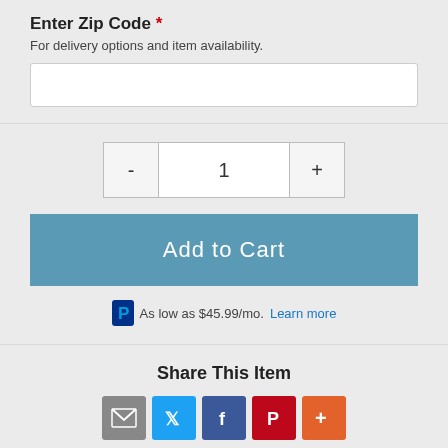Enter Zip Code *
For delivery options and item availability.
1
Add to Cart
As low as $45.99/mo. Learn more
Share This Item
[Figure (infographic): Social share icons: Email (grey), Twitter (blue), Facebook (dark blue), Pinterest (red), More (orange-red)]